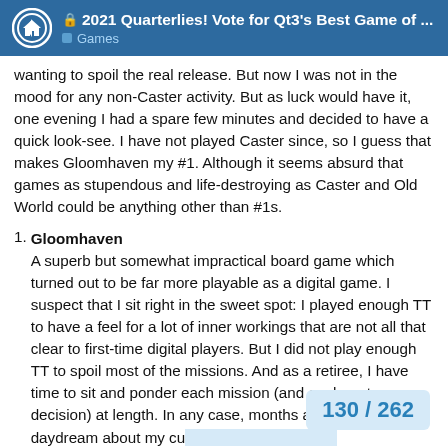🔒 2021 Quarterlies! Vote for Qt3's Best Game of ... | Games
wanting to spoil the real release. But now I was not in the mood for any non-Caster activity. But as luck would have it, one evening I had a spare few minutes and decided to have a quick look-see. I have not played Caster since, so I guess that makes Gloomhaven my #1. Although it seems absurd that games as stupendous and life-destroying as Caster and Old World could be anything other than #1s.
1. Gloomhaven — A superb but somewhat impractical board game which turned out to be far more playable as a digital game. I suspect that I sit right in the sweet spot: I played enough TT to have a feel for a lot of inner workings that are not all that clear to first-time digital players. But I did not play enough TT to spoil most of the missions. And as a retiree, I have time to sit and ponder each mission (and each meta-game decision) at length. In any case, months after release, I still daydream about my cu... chores, and my dreams play out on d...
130 / 262